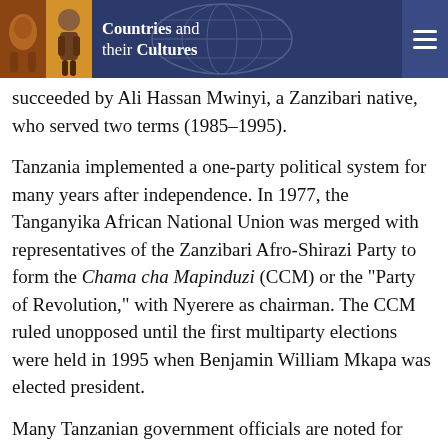Countries and their Cultures
succeeded by Ali Hassan Mwinyi, a Zanzibari native, who served two terms (1985–1995).
Tanzania implemented a one-party political system for many years after independence. In 1977, the Tanganyika African National Union was merged with representatives of the Zanzibari Afro-Shirazi Party to form the Chama cha Mapinduzi (CCM) or the "Party of Revolution," with Nyerere as chairman. The CCM ruled unopposed until the first multiparty elections were held in 1995 when Benjamin William Mkapa was elected president.
Many Tanzanian government officials are noted for their dedication and austerity, although corrupting influences of the market economy have become more prevalent over time. In a general sense, the authority of government officials at all levels is respected by local citizens, regardless of ethnic affiliation. This respect is demonstrated by greeting officials with a shaking of right hands, often while laying the left hand